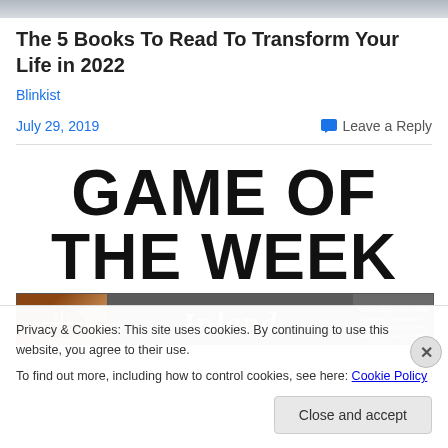[Figure (photo): Top portion of an image, partially cropped — shows light background, appears to be a person photo cropped at top edge]
The 5 Books To Read To Transform Your Life in 2022
Blinkist
July 29, 2019
Leave a Reply
[Figure (illustration): GAME OF THE WEEK banner with football imagery and Inland script text in a newspaper-style banner]
Privacy & Cookies: This site uses cookies. By continuing to use this website, you agree to their use.
To find out more, including how to control cookies, see here: Cookie Policy